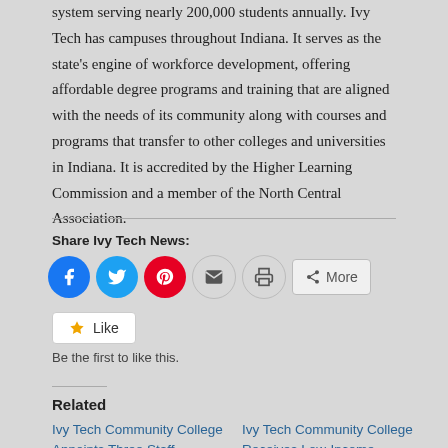system serving nearly 200,000 students annually. Ivy Tech has campuses throughout Indiana. It serves as the state's engine of workforce development, offering affordable degree programs and training that are aligned with the needs of its community along with courses and programs that transfer to other colleges and universities in Indiana. It is accredited by the Higher Learning Commission and a member of the North Central Association.
Share Ivy Tech News:
[Figure (infographic): Social sharing buttons: Facebook (blue circle), Twitter (blue circle), Pinterest (red circle), Email (grey circle), Print (grey circle), More (rectangular button)]
[Figure (infographic): Like button with star icon, text 'Like'. Below: 'Be the first to like this.']
Related
Ivy Tech Community College Appoints Three Staff Members to
Ivy Tech Community College Receives Low-Income